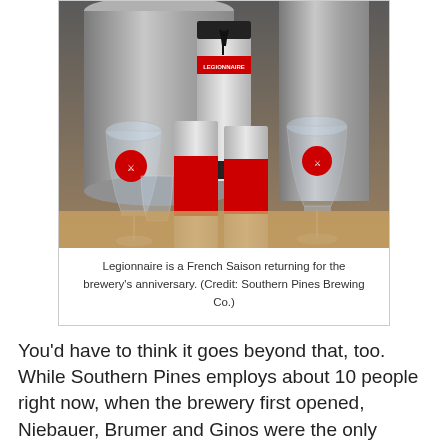[Figure (photo): Photo of Legionnaire beer cans and branded glassware (wine glasses with red circular logo) arranged in front of large silver brewing tanks. The cans show a black tree silhouette on a white/silver label with red banner reading 'LEGIONNAIRE' and 'SOUTHERN PINES' text.]
Legionnaire is a French Saison returning for the brewery's anniversary. (Credit: Southern Pines Brewing Co.)
You'd have to think it goes beyond that, too. While Southern Pines employs about 10 people right now, when the brewery first opened, Niebauer, Brumer and Ginos were the only employees. They made the beer